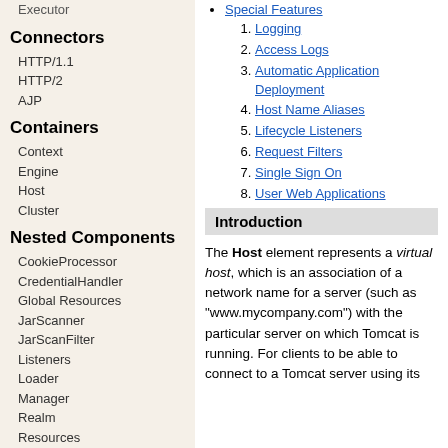Executor
Connectors
HTTP/1.1
HTTP/2
AJP
Containers
Context
Engine
Host
Cluster
Nested Components
CookieProcessor
CredentialHandler
Global Resources
JarScanner
JarScanFilter
Listeners
Loader
Manager
Realm
Resources
SessionIdGenerator
Special Features
Logging
Access Logs
Automatic Application Deployment
Host Name Aliases
Lifecycle Listeners
Request Filters
Single Sign On
User Web Applications
Introduction
The Host element represents a virtual host, which is an association of a network name for a server (such as "www.mycompany.com") with the particular server on which Tomcat is running. For clients to be able to connect to a Tomcat server using its